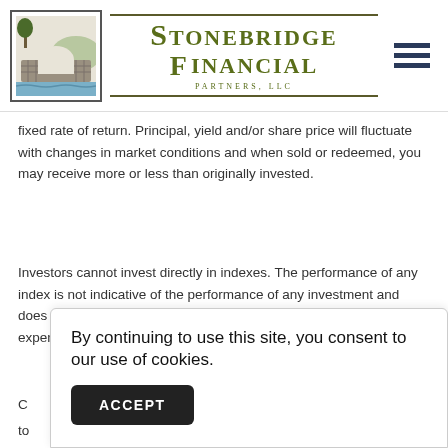[Figure (logo): Stonebridge Financial Partners LLC logo with stone bridge illustration and stylized text]
fixed rate of return. Principal, yield and/or share price will fluctuate with changes in market conditions and when sold or redeemed, you may receive more or less than originally invested.
Investors cannot invest directly in indexes. The performance of any index is not indicative of the performance of any investment and does not take into account the effects of inflation and the fees and expenses associated with investing.
By continuing to use this site, you consent to our use of cookies.